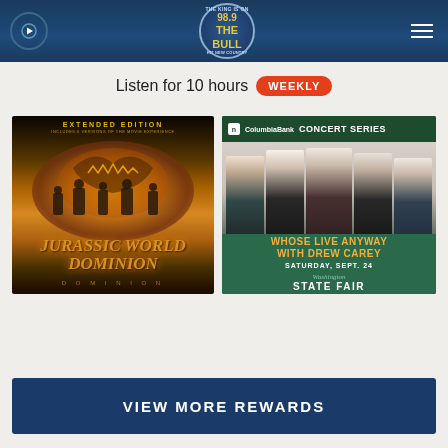98.9 The Bull Radio Station - Listen for 10 hours WEEKLY
Listen for 10 hours WEEKLY
[Figure (photo): Jurassic World Dominion Extended Edition movie cover art showing characters and dinosaur silhouette with fiery golden glow]
[Figure (photo): Columbia Bank Concert Series - Whose Live Anyway with Drew Carey, Saturday Sept. 24, Washington State Fair]
VIEW MORE REWARDS